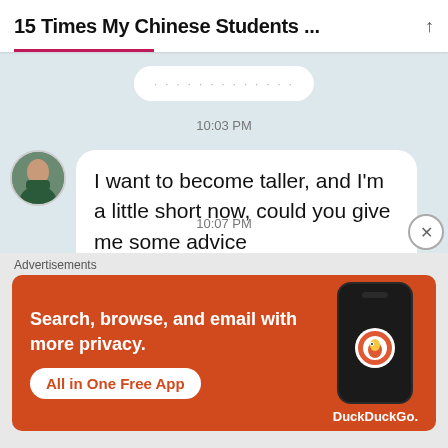15 Times My Chinese Students ...
10:03 PM
I want to become taller, and I'm a little short now, could you give me some advice
10:07 PM
Advertisements
[Figure (screenshot): DuckDuckGo advertisement banner: 'Search, browse, and email with more privacy. All in One Free App' with phone mockup showing DuckDuckGo logo]